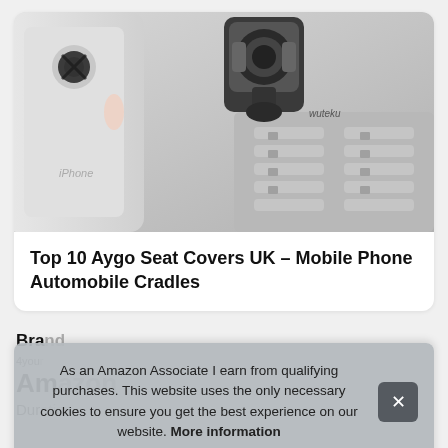[Figure (photo): Product photo showing a magnetic car phone mount (Wuteku brand) clipped to a car air vent, with a silver iPhone partially visible on the left side.]
Top 10 Aygo Seat Covers UK – Mobile Phone Automobile Cradles
Bra
4you
Am
Dur
As an Amazon Associate I earn from qualifying purchases. This website uses the only necessary cookies to ensure you get the best experience on our website. More information